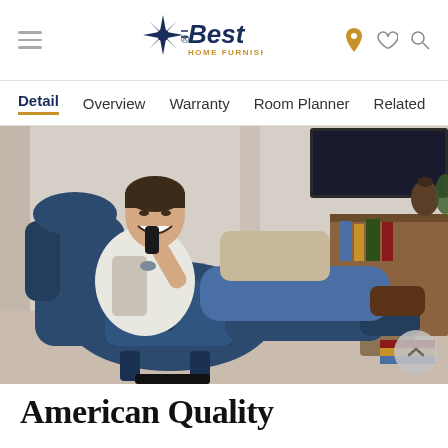Best Home Furnishings - navigation header with hamburger menu, logo, and icons
Detail | Overview | Warranty | Room Planner | Related | W >
[Figure (photo): Man smiling and relaxing in a fully reclined dark blue/navy power recliner chair, holding a TV remote. Living room setting with bookshelves and wood furniture in background.]
American Quality